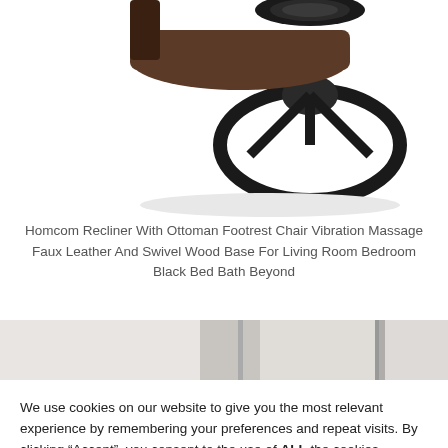[Figure (photo): Top portion of a black recliner chair with ottoman and wooden swivel base, cropped view showing the base and seat area on white background]
Homcom Recliner With Ottoman Footrest Chair Vibration Massage Faux Leather And Swivel Wood Base For Living Room Bedroom Black Bed Bath Beyond
[Figure (photo): Partial view of a room interior with white/light walls and vertical bar elements, cropped]
We use cookies on our website to give you the most relevant experience by remembering your preferences and repeat visits. By clicking “Accept”, you consent to the use of ALL the cookies.
Do not sell my personal information.
Cookie Settings | Accept